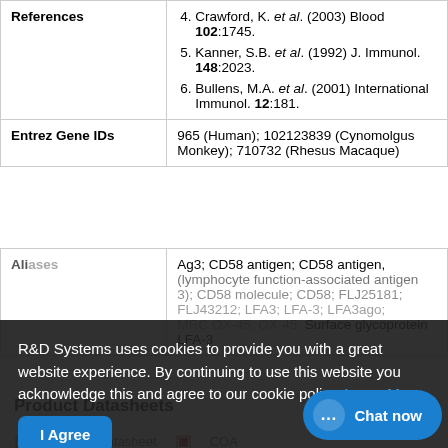|  |  |
| --- | --- |
| References | 4. Crawford, K. et al. (2003) Blood 102:1745.
5. Kanner, S.B. et al. (1992) J. Immunol. 148:2023.
6. Bullens, M.A. et al. (2001) International Immunol. 12:181. |
| Entrez Gene IDs | 965 (Human); 102123839 (Cynomolgus Monkey); 710732 (Rhesus Macaque) |
| Aliases | Ag3; CD58 antigen; CD58 antigen, (lymphocyte function-associated antigen 3); CD58 molecule; CD58; FLJ25181; FLJ43212; LFA3; LFA-3; LFA3ago; MRC OX-45; OX-45; Surface glycoprotein LFA-3 |
R&D Systems uses cookies to provide you with a great website experience. By continuing to use this website you acknowledge this and agree to our cookie policy. Learn More
Product Datasheets
Chat now